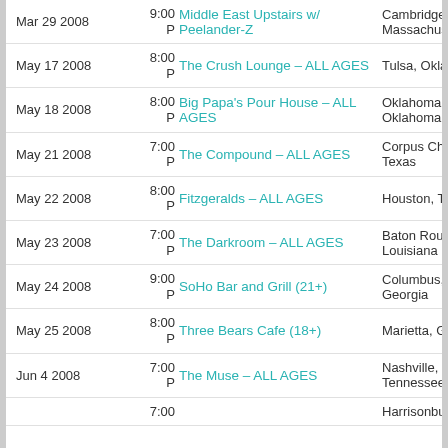| Date | Time | Venue | City |
| --- | --- | --- | --- |
| Mar 29 2008 | 9:00 P | Middle East Upstairs w/ Peelander-Z | Cambridge, Massachusetts |
| May 17 2008 | 8:00 P | The Crush Lounge – ALL AGES | Tulsa, Oklahoma |
| May 18 2008 | 8:00 P | Big Papa's Pour House – ALL AGES | Oklahoma City, Oklahoma |
| May 21 2008 | 7:00 P | The Compound – ALL AGES | Corpus Christi, Texas |
| May 22 2008 | 8:00 P | Fitzgeralds – ALL AGES | Houston, Texas |
| May 23 2008 | 7:00 P | The Darkroom – ALL AGES | Baton Rouge, Louisiana |
| May 24 2008 | 9:00 P | SoHo Bar and Grill (21+) | Columbus, Georgia |
| May 25 2008 | 8:00 P | Three Bears Cafe (18+) | Marietta, Georgia |
| Jun 4 2008 | 7:00 P | The Muse – ALL AGES | Nashville, Tennessee |
|  | 7:00 |  | Harrisonburg |